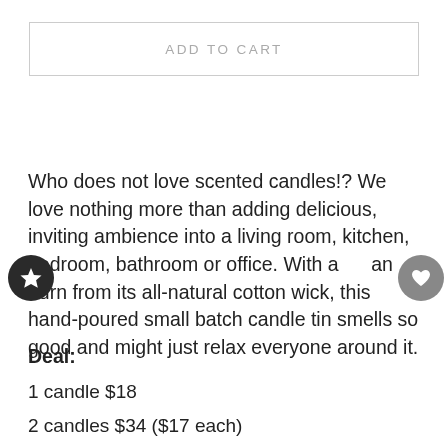ADD TO CART
Who does not love scented candles!? We love nothing more than adding delicious, inviting ambience into a living room, kitchen, bedroom, bathroom or office. With a an burn from its all-natural cotton wick, this hand-poured small batch candle tin smells so good and might just relax everyone around it.
Deal:
1 candle $18
2 candles $34 ($17 each)